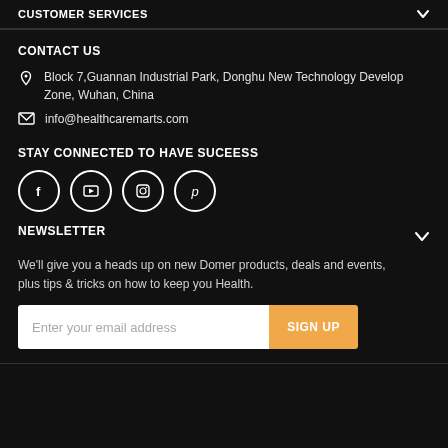CUSTOMER SERVICES
CONTACT US
Block 7,Guannan Industrial Park, Donghu New Technology Develop Zone, Wuhan, China
info@healthcaremarts.com
STAY CONNECTED TO HAVE SUCEESS
[Figure (illustration): Four social media icons in circles: Facebook, YouTube, Instagram, Pinterest]
NEWSLETTER
We'll give you a heads up on new Domer products, deals and events, plus tips & tricks on how to keep you Health.
Enter your email address  SIGN UP